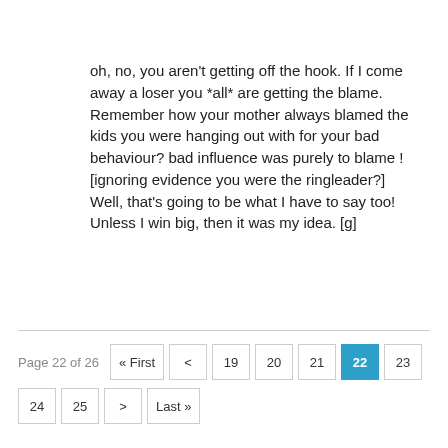oh, no, you aren't getting off the hook. If I come away a loser you *all* are getting the blame. Remember how your mother always blamed the kids you were hanging out with for your bad behaviour? bad influence was purely to blame ! [ignoring evidence you were the ringleader?] Well, that's going to be what I have to say too! Unless I win big, then it was my idea. [g]
Page 22 of 26  « First  <  19  20  21  22  23  24  25  >  Last »